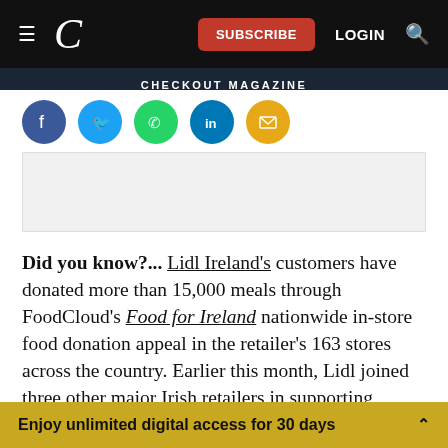Navigation bar with logo C, SUBSCRIBE button, LOGIN, search icon
CHECKOUT MAGAZINE
[Figure (other): Social sharing icons row: Facebook, Twitter, WhatsApp, LinkedIn, Email]
[Figure (other): Advertisement placeholder box]
Did you know?... Lidl Ireland's customers have donated more than 15,000 meals through FoodCloud's Food for Ireland nationwide in-store food donation appeal in the retailer's 163 stores across the country. Earlier this month, Lidl joined three other major Irish retailers in supporting
Enjoy unlimited digital access for 30 days